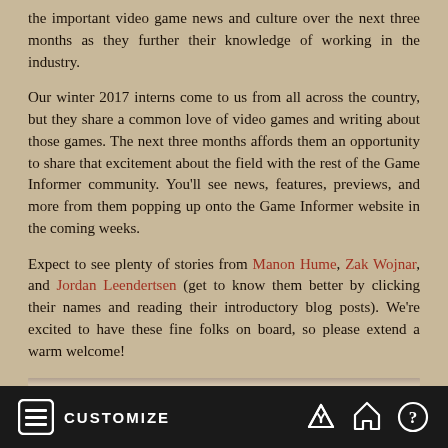the important video game news and culture over the next three months as they further their knowledge of working in the industry.
Our winter 2017 interns come to us from all across the country, but they share a common love of video games and writing about those games. The next three months affords them an opportunity to share that excitement about the field with the rest of the Game Informer community. You'll see news, features, previews, and more from them popping up onto the Game Informer website in the coming weeks.
Expect to see plenty of stories from Manon Hume, Zak Wojnar, and Jordan Leendertsen (get to know them better by clicking their names and reading their introductory blog posts). We're excited to have these fine folks on board, so please extend a warm welcome!
CUSTOMIZE